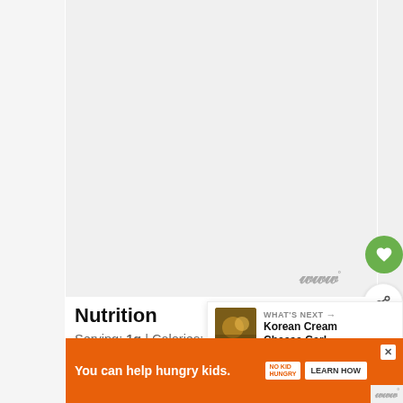[Figure (screenshot): Gray blank content area at top of page, placeholder for main recipe image or content]
Nutrition
Serving: 1g | Calories: 230kcal | Carbo... 2.1g | Protein: 34.7g | Fat: 9.6g | Saturated Fat:
[Figure (screenshot): WHAT'S NEXT panel showing Korean Cream Cheese Garl... thumbnail with food photo]
[Figure (screenshot): Orange advertisement banner: You can help hungry kids. No Kid Hungry. LEARN HOW]